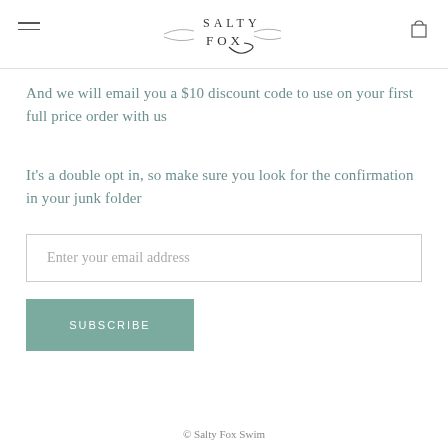Salty Fox [logo]
And we will email you a $10 discount code to use on your first full price order with us
It's a double opt in, so make sure you look for the confirmation in your junk folder
Enter your email address
SUBSCRIBE
© Salty Fox Swim